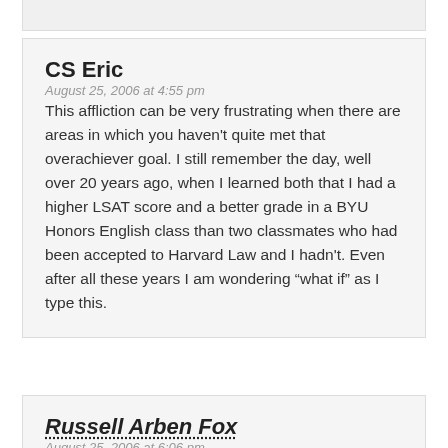CS Eric
August 25, 2006 at 4:55 pm
This affliction can be very frustrating when there are areas in which you haven't quite met that overachiever goal. I still remember the day, well over 20 years ago, when I learned both that I had a higher LSAT score and a better grade in a BYU Honors English class than two classmates who had been accepted to Harvard Law and I hadn't. Even after all these years I am wondering “what if” as I type this.
Russell Arben Fox
August 25, 2006 at 6:06 pm